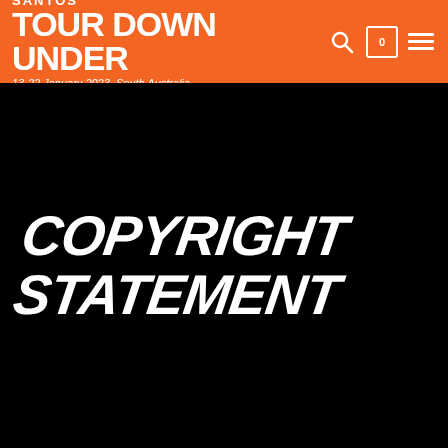SANTOS TOUR DOWN UNDER 13-22 January 2023, South Australia
COPYRIGHT STATEMENT